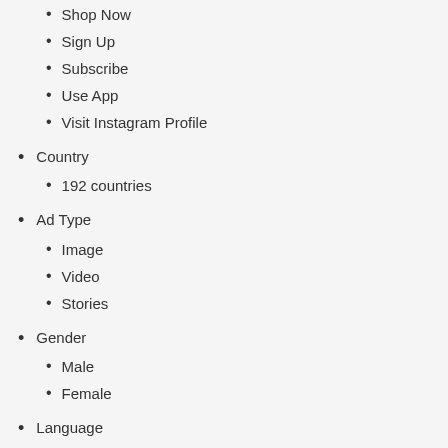Shop Now
Sign Up
Subscribe
Use App
Visit Instagram Profile
Country
192 countries
Ad Type
Image
Video
Stories
Gender
Male
Female
Language